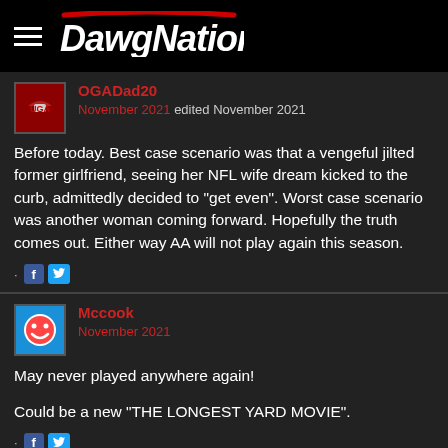[Figure (logo): DawgNation logo with hamburger menu icon on black background]
OGADad20
November 2021 edited November 2021

Before today. Best case scenario was that a vengeful jilted former girlfriend, seeing her NFL wife dream kicked to the curb, admittedly decided to "get even". Worst case scenario was another woman coming forward. Hopefully the truth comes out. Either way AA will not play again this season.
Mccook
November 2021

May never played anywhere again!

Could be a new “THE LONGEST YARD MOVIE”.